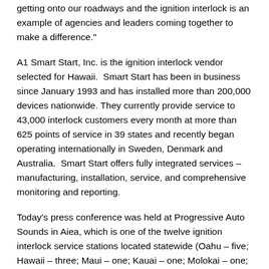getting onto our roadways and the ignition interlock is an example of agencies and leaders coming together to make a difference."
A1 Smart Start, Inc. is the ignition interlock vendor selected for Hawaii. Smart Start has been in business since January 1993 and has installed more than 200,000 devices nationwide. They currently provide service to 43,000 interlock customers every month at more than 625 points of service in 39 states and recently began operating internationally in Sweden, Denmark and Australia. Smart Start offers fully integrated services – manufacturing, installation, service, and comprehensive monitoring and reporting.
Today's press conference was held at Progressive Auto Sounds in Aiea, which is one of the twelve ignition interlock service stations located statewide (Oahu – five; Hawaii – three; Maui – one; Kauai – one; Molokai – one; Lanai – one). You